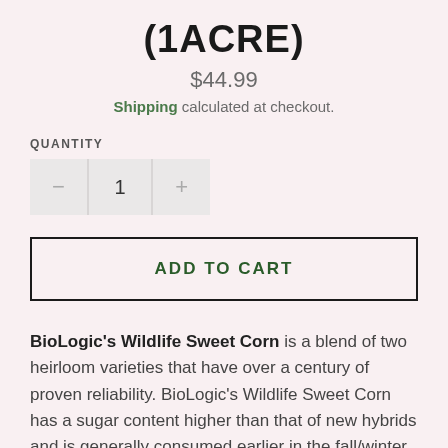(1ACRE)
$44.99
Shipping calculated at checkout.
QUANTITY
1
ADD TO CART
BioLogic's Wildlife Sweet Corn is a blend of two heirloom varieties that have over a century of proven reliability. BioLogic's Wildlife Sweet Corn has a sugar content higher than that of new hybrids and is generally consumed earlier in the fall/winter,